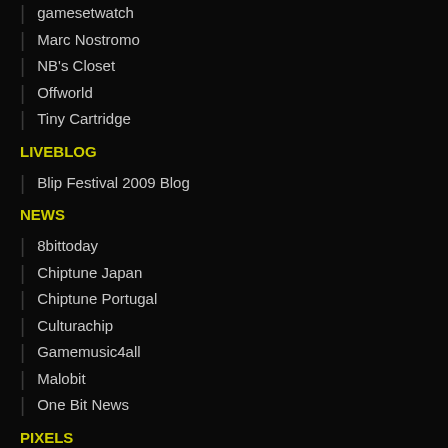gamesetwatch
Marc Nostromo
NB's Closet
Offworld
Tiny Cartridge
LIVEBLOG
Blip Festival 2009 Blog
NEWS
8bittoday
Chiptune Japan
Chiptune Portugal
Culturachip
Gamemusic4all
Malobit
One Bit News
PIXELS
C64PIXELS
Pixelstyle
PODCASTS
Blibb Blobb Podcast
stfuajpqm